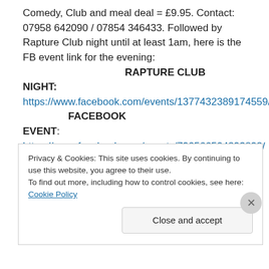Comedy, Club and meal deal = £9.95. Contact: 07958 642090 / 07854 346433. Followed by Rapture Club night until at least 1am, here is the FB event link for the evening: RAPTURE CLUB NIGHT: https://www.facebook.com/events/1377432389174559/ FACEBOOK EVENT: https://www.facebook.com/events/790566504293892/
1 March || Reclaiming the F Word @ St. Peter's House,
Privacy & Cookies: This site uses cookies. By continuing to use this website, you agree to their use. To find out more, including how to control cookies, see here: Cookie Policy
Close and accept